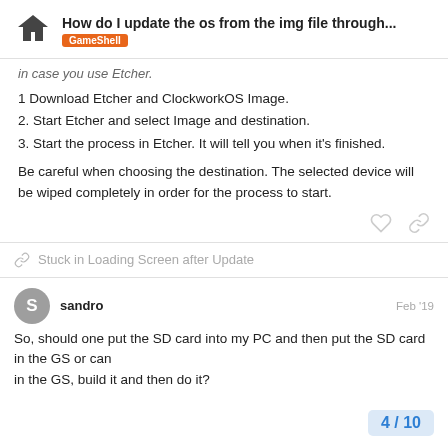How do I update the os from the img file through... GameShell
in case you use Etcher.
1 Download Etcher and ClockworkOS Image.
2. Start Etcher and select Image and destination.
3. Start the process in Etcher. It will tell you when it's finished.
Be careful when choosing the destination. The selected device will be wiped completely in order for the process to start.
Stuck in Loading Screen after Update
sandro  Feb '19
So, should one put the SD card into my PC and then put the SD card in the GS or can... in the GS, build it and then do it?
4 / 10